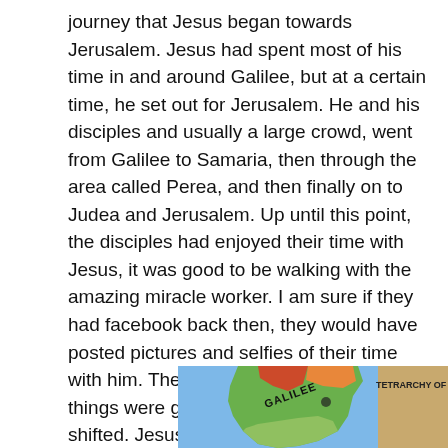journey that Jesus began towards Jerusalem. Jesus had spent most of his time in and around Galilee, but at a certain time, he set out for Jerusalem. He and his disciples and usually a large crowd, went from Galilee to Samaria, then through the area called Perea, and then finally on to Judea and Jerusalem. Up until this point, the disciples had enjoyed their time with Jesus, it was good to be walking with the amazing miracle worker. I am sure if they had facebook back then, they would have posted pictures and selfies of their time with him. They were on an emotional high, things were going well, but then the mood shifted. Jesus got serious and began to stride a little more purposefully. Is seems like Jesus changed gears and began to lock in on a goal that was over the horizon.
[Figure (map): A partial map showing the region of Galilee and the Tetrarchy of Philip, with colored regions in blue, green, orange, red, and tan/brown colors. Labels visible include 'GALILEE' and 'TETRARCHY OF PHILIP'.]